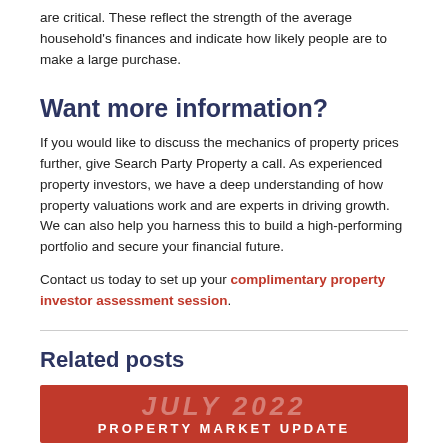are critical. These reflect the strength of the average household's finances and indicate how likely people are to make a large purchase.
Want more information?
If you would like to discuss the mechanics of property prices further, give Search Party Property a call. As experienced property investors, we have a deep understanding of how property valuations work and are experts in driving growth. We can also help you harness this to build a high-performing portfolio and secure your financial future.
Contact us today to set up your complimentary property investor assessment session.
Related posts
[Figure (other): Red promotional banner showing 'JULY 2022 PROPERTY MARKET UPDATE']